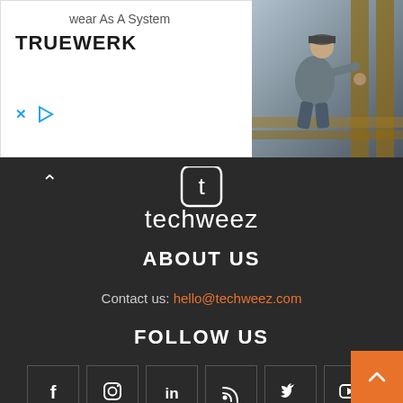[Figure (screenshot): Advertisement banner for TRUEWERK workwear. Left side shows brand name 'TRUEWERK' and tagline 'wear As A System' in white box. Right side shows a worker in grey clothing crouching and working on wood. Bottom left has X and play icons.]
[Figure (logo): Techweez logo in white on dark background, showing a stylized 't' icon above the word 'techweez' in lowercase rounded sans-serif font.]
ABOUT US
Contact us: hello@techweez.com
FOLLOW US
[Figure (infographic): Six social media icon boxes in a row: Facebook (f), Instagram (camera), LinkedIn (in), RSS feed, Twitter/X (bird), YouTube (play triangle). All white icons on dark background with grey borders. Orange scroll-to-top button in bottom right corner.]